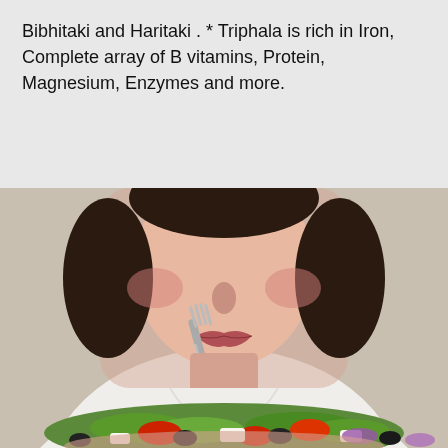Bibhitaki and Haritaki . * Triphala is rich in Iron, Complete array of B vitamins, Protein, Magnesium, Enzymes and more.
[Figure (photo): A woman holding a fork to her mouth, looking down at a Greek salad with olives, tomatoes, feta cheese, red onion, and lettuce.]